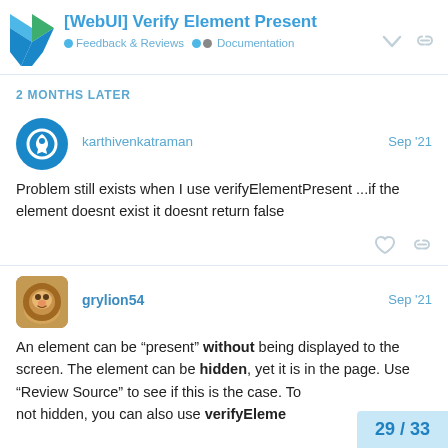[WebUI] Verify Element Present
Feedback & Reviews  Documentation
2 MONTHS LATER
karthivenkatraman   Sep '21
Problem still exists when I use verifyElementPresent ...if the element doesnt exist it doesnt return false
grylion54   Sep '21
An element can be “present” without being displayed to the screen. The element can be hidden, yet it is in the page. Use “Review Source” to see if this is the case. To not hidden, you can also use verifyEleme